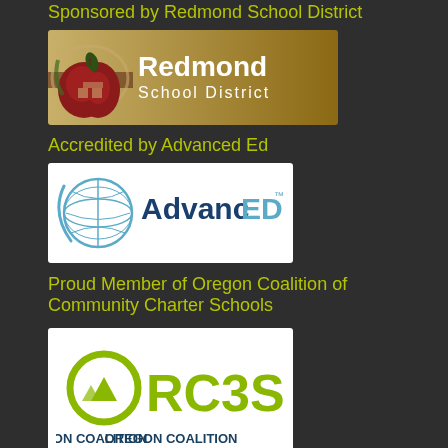Sponsored by Redmond School District
[Figure (logo): Redmond School District logo with apple graphic and text]
Accredited by Advanced Ed
[Figure (logo): AdvancED accreditation logo with globe graphic]
Proud Member of Oregon Coalition of Community Charter Schools
[Figure (logo): ORC3S Oregon Coalition of Community Charter Schools logo]